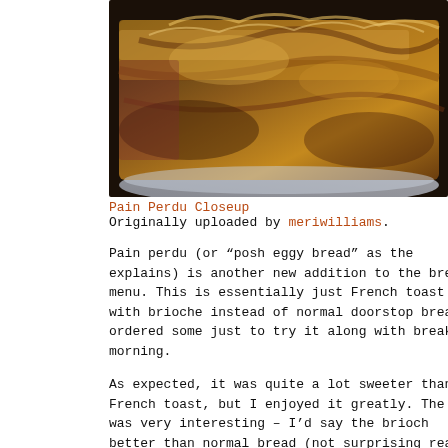[Figure (photo): Close-up photograph of Pain Perdu (French toast made with brioche), showing golden-brown toasted bread with a flaky, layered texture on a plate.]
Pain Perdu Closeup
Originally uploaded by meriwilliams.
Pain perdu (or “posh eggy bread” as the explains) is another new addition to the brea menu. This is essentially just French toast with brioche instead of normal doorstop brea ordered some just to try it along with breakfas morning.
As expected, it was quite a lot sweeter than n French toast, but I enjoyed it greatly. The te was very interesting – I’d say the brioch better than normal bread (not surprising really it withstood the egg/milk mix better.
Lovely simple addition to the menu, quite ric delicious!